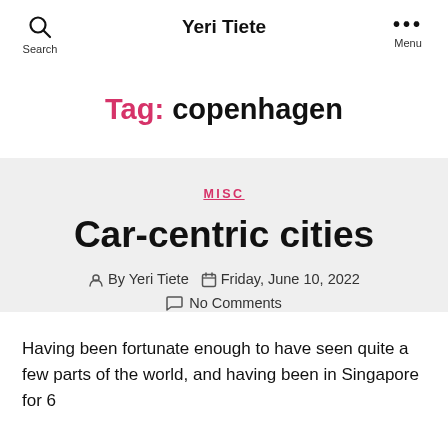Search   Yeri Tiete   Menu
Tag: copenhagen
MISC
Car-centric cities
By Yeri Tiete   Friday, June 10, 2022   No Comments
Having been fortunate enough to have seen quite a few parts of the world, and having been in Singapore for 6